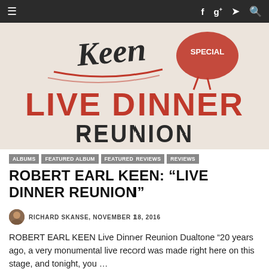≡  f  g+  🐦  🔍
[Figure (photo): Album art / promotional poster for Robert Earl Keen Live Dinner Reunion showing stylized red and black lettering including 'Keen', 'SPECIAL', 'LIVE DINNER', 'REUNION' on a light background with illustrated characters]
ALBUMS  FEATURED ALBUM  FEATURED REVIEWS  REVIEWS
ROBERT EARL KEEN: "LIVE DINNER REUNION"
RICHARD SKANSE, NOVEMBER 18, 2016
ROBERT EARL KEEN Live Dinner Reunion Dualtone "20 years ago, a very monumental live record was made right here on this stage, and tonight, you …